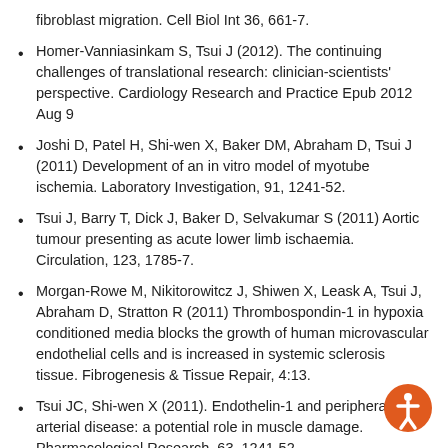fibroblast migration. Cell Biol Int 36, 661-7.
Homer-Vanniasinkam S, Tsui J (2012). The continuing challenges of translational research: clinician-scientists' perspective. Cardiology Research and Practice Epub 2012 Aug 9
Joshi D, Patel H, Shi-wen X, Baker DM, Abraham D, Tsui J (2011) Development of an in vitro model of myotube ischemia. Laboratory Investigation, 91, 1241-52.
Tsui J, Barry T, Dick J, Baker D, Selvakumar S (2011) Aortic tumour presenting as acute lower limb ischaemia. Circulation, 123, 1785-7.
Morgan-Rowe M, Nikitorowitcz J, Shiwen X, Leask A, Tsui J, Abraham D, Stratton R (2011) Thrombospondin-1 in hypoxia conditioned media blocks the growth of human microvascular endothelial cells and is increased in systemic sclerosis tissue. Fibrogenesis & Tissue Repair, 4:13.
Tsui JC, Shi-wen X (2011). Endothelin-1 and peripheral arterial disease: a potential role in muscle damage. Pharmacological Research, 63, 1241-52.
Dashwood MR, Tsui JC (2011) Further evidence for the role of endothelin-1 in critical limb ischaemia. Journal of Cell